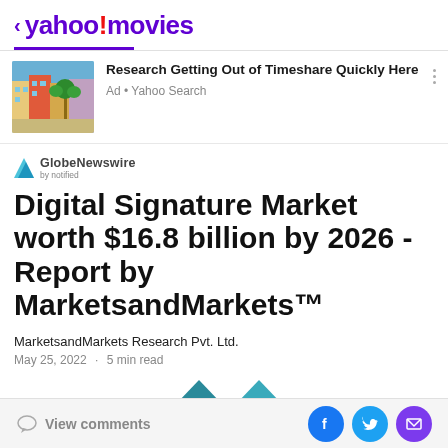< yahoo!movies
[Figure (screenshot): Advertisement: 'Research Getting Out of Timeshare Quickly Here' - Ad from Yahoo Search, with a photo of Mediterranean-style colorful buildings]
[Figure (logo): GlobeNewswire by notified logo]
Digital Signature Market worth $16.8 billion by 2026 - Report by MarketsandMarkets™
MarketsandMarkets Research Pvt. Ltd.
May 25, 2022  ·  5 min read
[Figure (illustration): Two teal/dark-cyan triangle shapes partially visible at the bottom of the article area]
View comments  [Facebook] [Twitter] [Email]